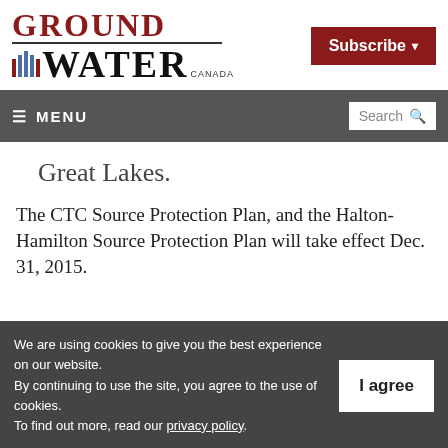Ground Water Canada
Subscribe
≡ MENU  Search
Great Lakes.
The CTC Source Protection Plan, and the Halton-Hamilton Source Protection Plan will take effect Dec. 31, 2015.
We are using cookies to give you the best experience on our website. By continuing to use the site, you agree to the use of cookies. To find out more, read our privacy policy.
I agree